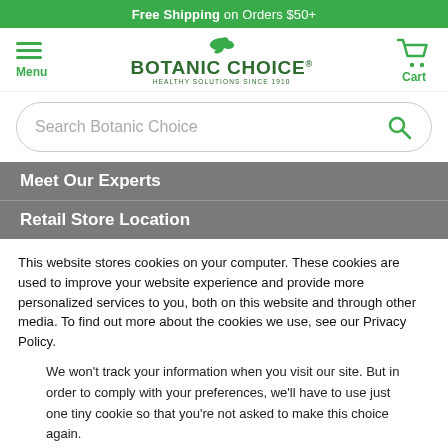Free Shipping on Orders $50+
[Figure (logo): Botanic Choice logo with leaf icon and tagline 'Healthy Solutions Since 1910']
Search Botanic Choice
Meet Our Experts
Retail Store Location
This website stores cookies on your computer. These cookies are used to improve your website experience and provide more personalized services to you, both on this website and through other media. To find out more about the cookies we use, see our Privacy Policy.
We won't track your information when you visit our site. But in order to comply with your preferences, we'll have to use just one tiny cookie so that you're not asked to make this choice again.